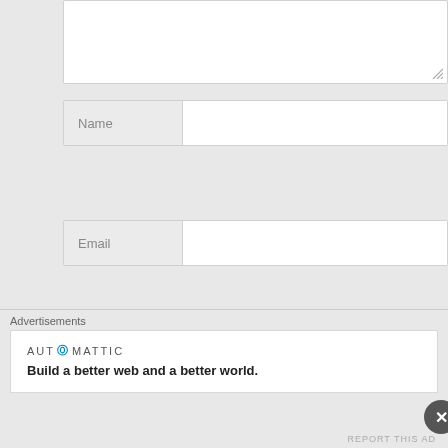[Figure (screenshot): A web comment form showing a textarea (partially visible at top with resize handle), followed by three labeled input fields: Name, Email, and Website. Below that is a checkbox labeled 'Notify me of new comments' and a partially visible dark 'Post Comment' button with an X close button overlay.]
Advertisements
[Figure (infographic): Automattic advertisement banner with logo reading 'AUTOMATTIC' and tagline 'Build a better web and a better world.']
REPORT THIS AD